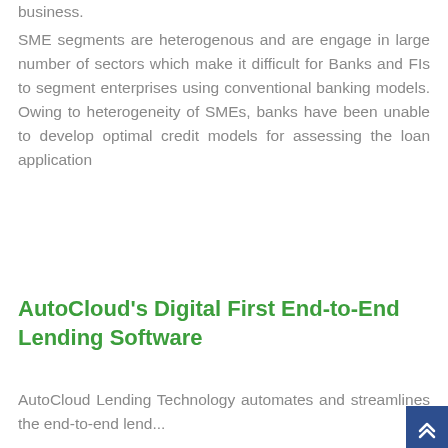business.
SME segments are heterogenous and are engage in large number of sectors which make it difficult for Banks and FIs to segment enterprises using conventional banking models. Owing to heterogeneity of SMEs, banks have been unable to develop optimal credit models for assessing the loan application
AutoCloud's Digital First End-to-End Lending Software
AutoCloud Lending Technology automates and streamlines the end-to-end lend...